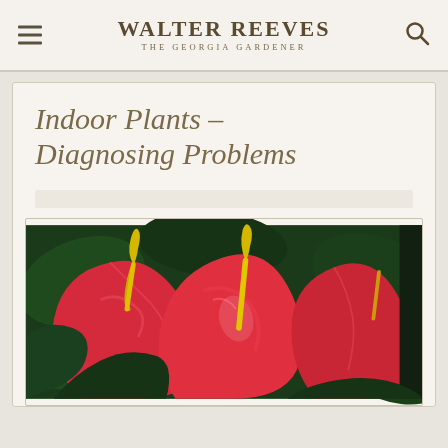WALTER REEVES THE GEORGIA GARDENER
Indoor Plants – Diagnosing Problems
[Figure (photo): Close-up photograph of bright red anthurium flowers with yellow spadices and dark green leaves in the background]